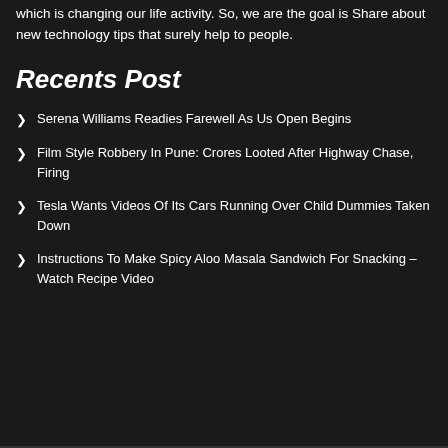which is changing our life activity. So, we are the goal is Share about new technology tips that surely help to people.
Recents Post
Serena Williams Readies Farewell As Us Open Begins
Film Style Robbery In Pune: Crores Looted After Highway Chase, Firing
Tesla Wants Videos Of Its Cars Running Over Child Dummies Taken Down
Instructions To Make Spicy Aloo Masala Sandwich For Snacking – Watch Recipe Video